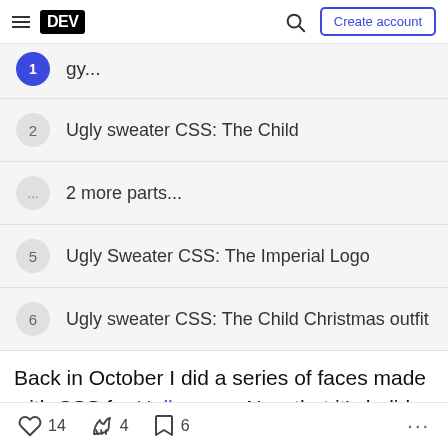DEV | Create account
1 Ugly sweater CSS: The Child (partial, active)
2 Ugly sweater CSS: The Child
... 2 more parts...
5 Ugly Sweater CSS: The Imperial Logo
6 Ugly sweater CSS: The Child Christmas outfit
Back in October I did a series of faces made with CSS for Halloween. Now that it's holiday season I'm was looking around for blog ideas, I thought about
14  4  6  ...